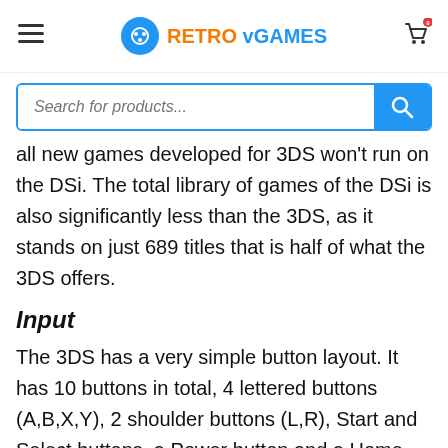RETRO vGAMES
all new games developed for 3DS won't run on the DSi. The total library of games of the DSi is also significantly less than the 3DS, as it stands on just 689 titles that is half of what the 3DS offers.
Input
The 3DS has a very simple button layout. It has 10 buttons in total, 4 lettered buttons (A,B,X,Y), 2 shoulder buttons (L,R), Start and Select buttons, a Power button and a Home button